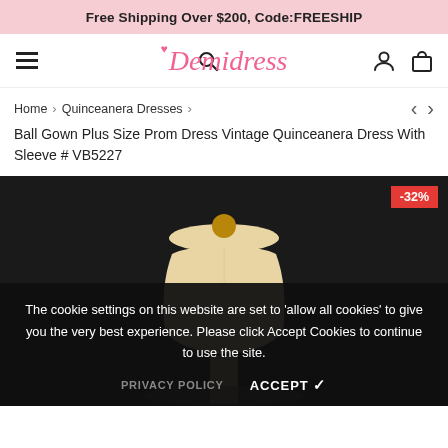Free Shipping Over $200, Code:FREESHIP
[Figure (logo): Demidress logo with heart icon in pink italic font, navigation bar with hamburger menu, search icon, user icon, and bag icon]
Home > Quinceanera Dresses >
Ball Gown Plus Size Prom Dress Vintage Quinceanera Dress With Sleeve # VB5227
[Figure (photo): Product photo of a mannequin torso on dark background showing a dress form, with -32% discount badge in red]
The cookie settings on this website are set to 'allow all cookies' to give you the very best experience. Please click Accept Cookies to continue to use the site.
PRIVACY POLICY   ACCEPT ✓